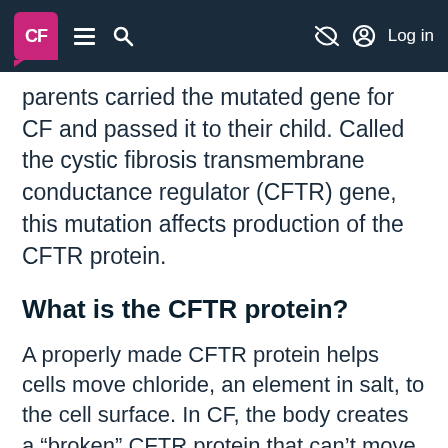CF [logo] ≡ 🔍 [no-eye icon] Log in
parents carried the mutated gene for CF and passed it to their child. Called the cystic fibrosis transmembrane conductance regulator (CFTR) gene, this mutation affects production of the CFTR protein.
What is the CFTR protein?
A properly made CFTR protein helps cells move chloride, an element in salt, to the cell surface. In CF, the body creates a “broken” CFTR protein that can’t move chloride properly. Without chloride, water isn’t attracted to the cell surface, resulting in a